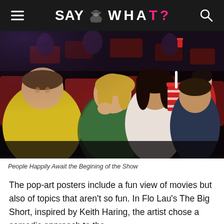SAY WHAT?
[Figure (photo): People sitting in a movie theater cinema watching a film. In the foreground, a man in a yellow shirt and a woman eating popcorn. Behind them, a woman drinking from a red cup and a man smiling. Dark, moody cinema lighting with red seats.]
People Happily Await the Begining of the Show
The pop-art posters include a fun view of movies but also of topics that aren't so fun. In Flo Lau's The Big Short, inspired by Keith Haring, the artist chose a comedic approach to the